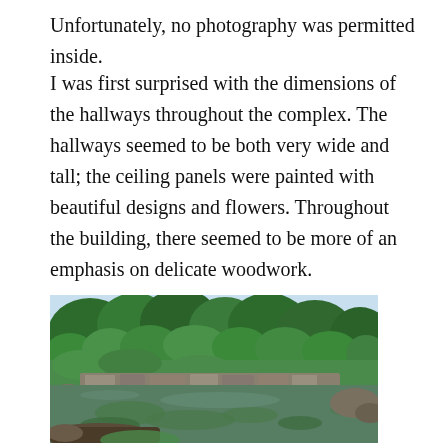Unfortunately, no photography was permitted inside.
I was first surprised with the dimensions of the hallways throughout the complex. The hallways seemed to be both very wide and tall; the ceiling panels were painted with beautiful designs and flowers. Throughout the building, there seemed to be more of an emphasis on delicate woodwork.
[Figure (photo): Photograph of a Japanese garden with lush green trees, rocks, and a pond with green algae/lily pads. A low stone bridge or wall is visible across the water.]